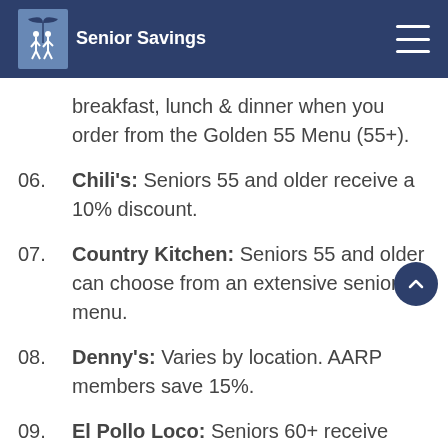Senior Savings
breakfast, lunch & dinner when you order from the Golden 55 Menu (55+).
06. Chili's: Seniors 55 and older receive a 10% discount.
07. Country Kitchen: Seniors 55 and older can choose from an extensive senior menu.
08. Denny's: Varies by location. AARP members save 15%.
09. El Pollo Loco: Seniors 60+ receive